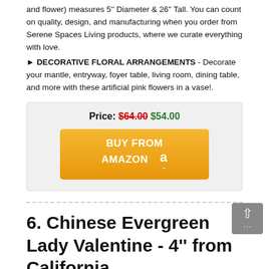and flower) measures 5'' Diameter & 26'' Tall. You can count on quality, design, and manufacturing when you order from Serene Spaces Living products, where we curate everything with love.
▶ DECORATIVE FLORAL ARRANGEMENTS - Decorate your mantle, entryway, foyer table, living room, dining table, and more with these artificial pink flowers in a vase!.
Price: $64.00 $54.00
BUY FROM AMAZON
6. Chinese Evergreen Lady Valentine - 4'' from California ...